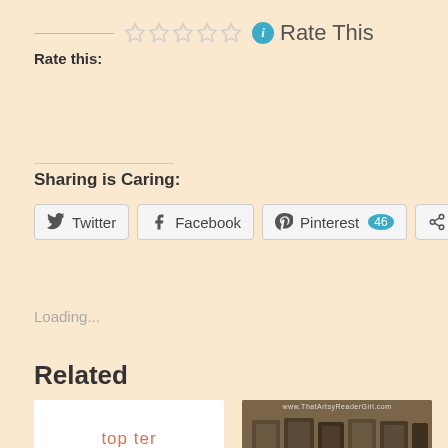Rate This
Rate this:
Sharing is Caring:
Twitter
Facebook
Pinterest 46
More
Loading...
Related
[Figure (screenshot): Top Ten Tuesday logo image from ThatArtsyReaderGirl.com]
[Figure (photo): Stack of ornate old books, website url visible at top]